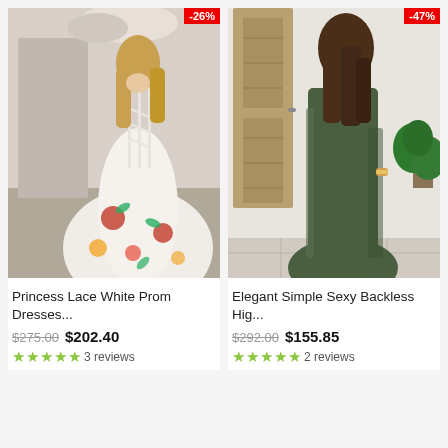[Figure (photo): Woman in white floral embroidered prom dress showing backless lace-up design, with discount badge -26%]
Princess Lace White Prom Dresses...
$275.00  $202.40
★★★★★ 3 reviews
[Figure (photo): Woman in elegant dark green simple sexy backless high slit dress, with discount badge -47%]
Elegant Simple Sexy Backless Hig...
$292.00  $155.85
★★★★★ 2 reviews